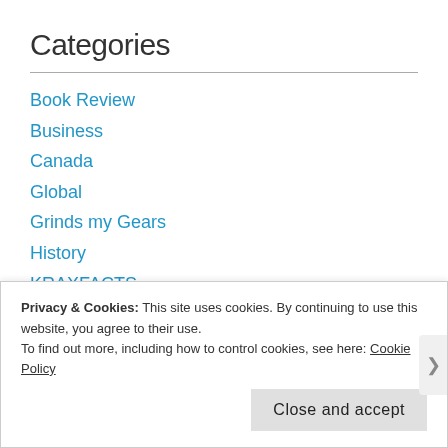Categories
Book Review
Business
Canada
Global
Grinds my Gears
History
KRAXFACTS
KRAXQUOTES
Politics
Reblogged
Privacy & Cookies: This site uses cookies. By continuing to use this website, you agree to their use.
To find out more, including how to control cookies, see here: Cookie Policy
Close and accept